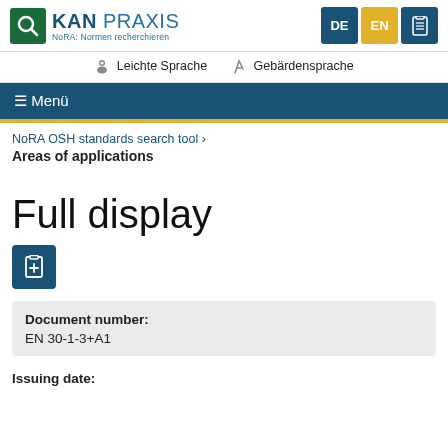[Figure (logo): KAN PRAXIS logo with NoRA: Normen recherchieren text, blue and teal colors]
DE  EN  [clipboard icon]
Leichte Sprache   Gebärdensprache
≡ Menü
NoRA OSH standards search tool >
Areas of applications
Full display
[clipboard add icon button]
| Document number: |
| --- |
| EN 30-1-3+A1 |
Issuing date: